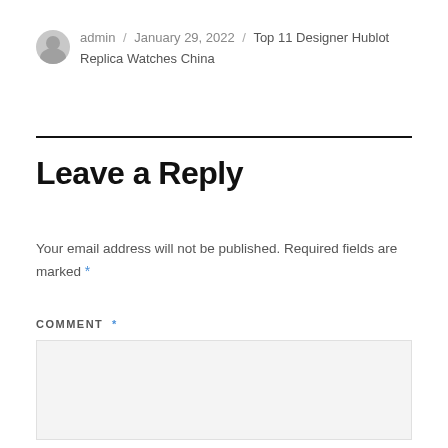admin / January 29, 2022 / Top 11 Designer Hublot Replica Watches China
Leave a Reply
Your email address will not be published. Required fields are marked *
COMMENT *